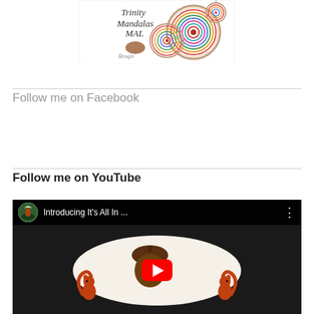[Figure (illustration): Trinity Mandalas MAL promotional image showing colorful crocheted mandalas in embroidery hoops with decorative text and logo]
Follow me on Facebook
Follow me on YouTube
[Figure (screenshot): YouTube video embed showing 'Introducing It’s All In ...' video with squirrel/acorn logo and red play button over an illustrated scene]